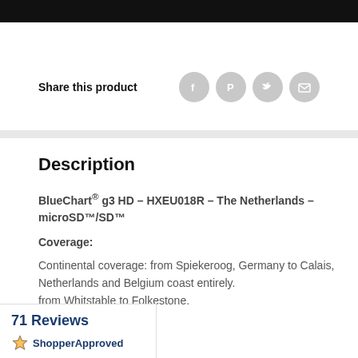[Figure (other): Black top navigation bar]
Share this product
[Figure (other): Social sharing icons: Facebook, Pinterest, Twitter, Email]
Description
BlueChart® g3 HD – HXEU018R – The Netherlands – microSD™/SD™
Coverage:
Continental coverage: from Spiekeroog, Germany to Calais, Netherlands and Belgium coast entirely. from Whitstable to Folkestone.
[Figure (other): ShopperApproved widget showing 71 Reviews with star logo]